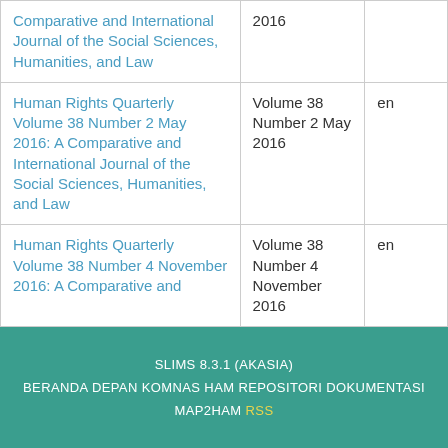| Title | Edition | Language |
| --- | --- | --- |
| Comparative and International Journal of the Social Sciences, Humanities, and Law | 2016 |  |
| Human Rights Quarterly Volume 38 Number 2 May 2016: A Comparative and International Journal of the Social Sciences, Humanities, and Law | Volume 38 Number 2 May 2016 | en |
| Human Rights Quarterly Volume 38 Number 4 November 2016: A Comparative and | Volume 38 Number 4 November 2016 | en |
SLIMS 8.3.1 (AKASIA)
BERANDA DEPAN KOMNAS HAM REPOSITORI DOKUMENTASI
MAP2HAM RSS